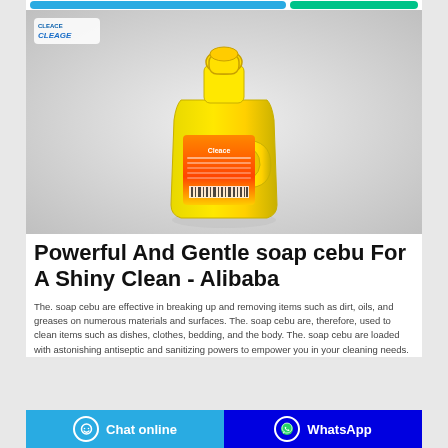[Figure (photo): Yellow plastic cleaning liquid bottle (Cleace brand) with orange label, shown against a light gray background. Blue Cleace logo visible in top-left corner of the image.]
Powerful And Gentle soap cebu For A Shiny Clean - Alibaba
The. soap cebu are effective in breaking up and removing items such as dirt, oils, and greases on numerous materials and surfaces. The. soap cebu are, therefore, used to clean items such as dishes, clothes, bedding, and the body. The. soap cebu are loaded with astonishing antiseptic and sanitizing powers to empower you in your cleaning needs.
Chat online   WhatsApp